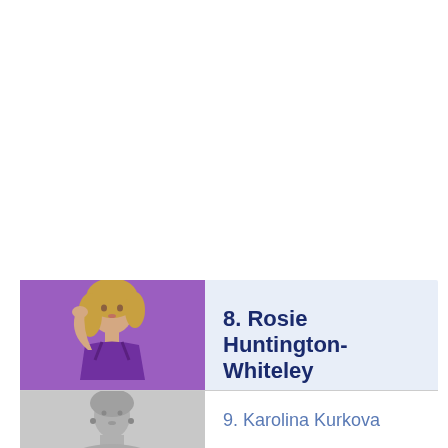8. Rosie Huntington-Whiteley
9. Karolina Kurkova